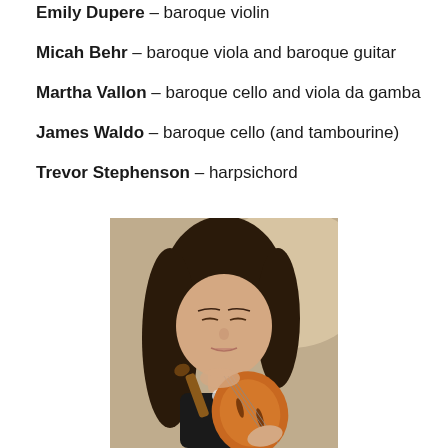Emily Dupere – baroque violin
Micah Behr – baroque viola and baroque guitar
Martha Vallon – baroque cello and viola da gamba
James Waldo – baroque cello (and tambourine)
Trevor Stephenson – harpsichord
[Figure (photo): A woman with long dark hair playing a baroque violin, eyes closed, resting her chin on the instrument.]